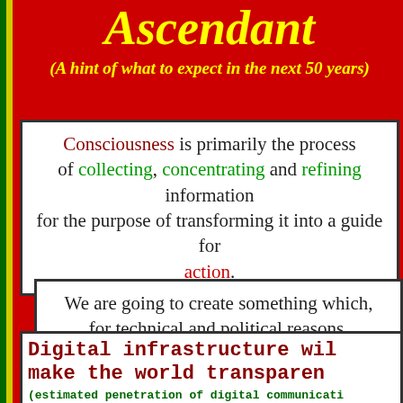Ascendant
(A hint of what to expect in the next 50 years)
Consciousness is primarily the process of collecting, concentrating and refining information for the purpose of transforming it into a guide for action.
We are going to create something which, for technical and political reasons, has never existed in the history of the world.
Digital infrastructure will make the world transparent
(estimated penetration of digital communication percentage of world population vs. time)